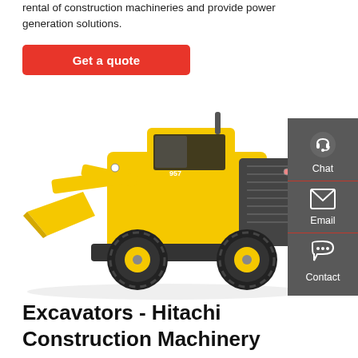rental of construction machineries and provide power generation solutions.
Get a quote
[Figure (photo): Yellow construction wheel loader (front-end loader) with black accents, model 957, shown in three-quarter view against white background]
[Figure (infographic): Dark grey sidebar with three contact options: Chat (headset icon), Email (envelope icon), Contact (speech bubble icon), separated by red dividers]
Excavators - Hitachi Construction Machinery